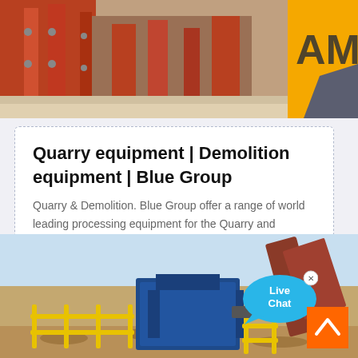[Figure (photo): Industrial quarry/demolition equipment — orange metal frames and machinery parts, with partial logo 'AM' visible in top right corner against yellow background]
Quarry equipment | Demolition equipment | Blue Group
Quarry & Demolition. Blue Group offer a range of world leading processing equipment for the Quarry and Demolition sectors. Whether you ar…
[Figure (photo): Outdoor quarry scene with blue heavy crushing/processing equipment and yellow safety railings, rocky desert landscape in background, large machinery arm overhead]
[Figure (infographic): Live Chat bubble overlay — cyan speech bubble with 'Live Chat' text and an X close button]